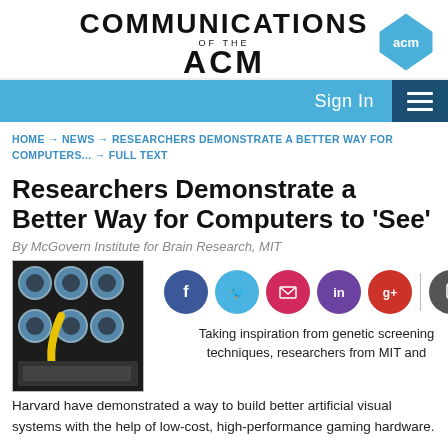COMMUNICATIONS OF THE ACM
Sign In
HOME → NEWS → RESEARCHERS DEMONSTRATE A BETTER WAY FOR COMPUTERS... → FULL TEXT
Researchers Demonstrate a Better Way for Computers to 'See'
By McGovern Institute for Brain Research, MIT
[Figure (photo): Photo of a computer hardware rack with circular components and yellow cable]
[Figure (infographic): Social sharing icons: Facebook, Twitter, Email, LinkedIn, Google+, Mobile]
Taking inspiration from genetic screening techniques, researchers from MIT and Harvard have demonstrated a way to build better artificial visual systems with the help of low-cost, high-performance gaming hardware.
The neural processing involved in visually recognizing